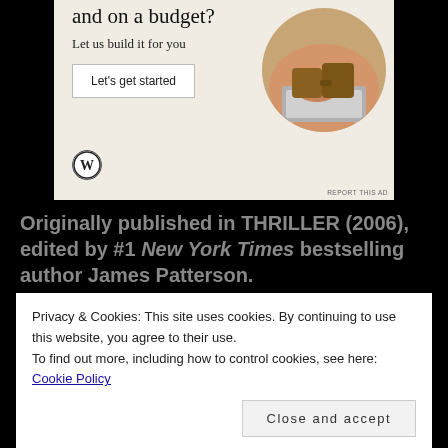[Figure (screenshot): WordPress advertisement banner with cream/beige background. Text: 'and on a budget? Let us build it for you' with a 'Let's get started' button, WordPress logo, and circular photo of person typing on laptop.]
REPORT THIS AD
Originally published in THRILLER (2006), edited by #1 New York Times bestselling author James Patterson.
Privacy & Cookies: This site uses cookies. By continuing to use this website, you agree to their use.
To find out more, including how to control cookies, see here: Cookie Policy
Close and accept
particularly gruesome nature of the murders will